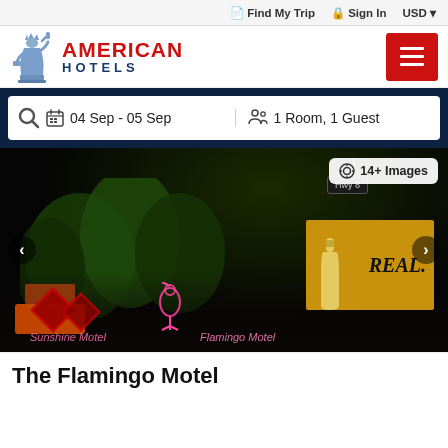Find My Trip  Sign In  USD
[Figure (logo): American Hotels logo with Statue of Liberty icon, red AMERICAN text, blue HOTELS text, and red hamburger menu button]
04 Sep - 05 Sep   1 Room, 1 Guest
[Figure (photo): Night photo of The Flamingo Motel exterior with neon signs, trees, colorful lights, a yellow sign with REAL. text and a beer bottle graphic. Navigation arrows on left and right. Badge showing 14+ Images.]
The Flamingo Motel